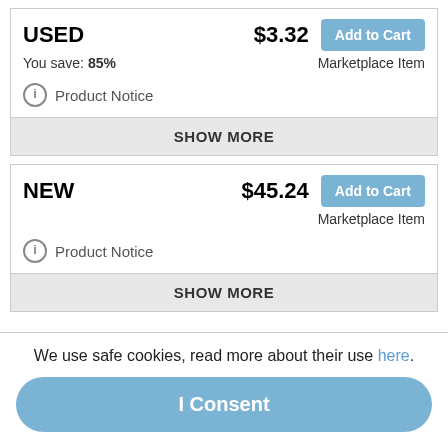USED  $3.32  Add to Cart
You save: 85%  Marketplace Item
ℹ Product Notice
SHOW MORE
NEW  $45.24  Add to Cart
Marketplace Item
ℹ Product Notice
SHOW MORE
DESCRIPTION:
In the fourth enchanting addition to Kenneth Grahame's The Wind in the Willows, Toad is not looking forward to Christmas. Every year, the dreaded Mrs. Ffleshe visits him and sets out to protect Toad from overindulgence. But
Expand description
We use safe cookies, read more about their use here.
I Consent